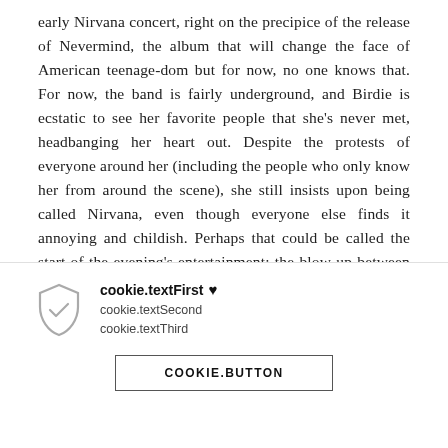early Nirvana concert, right on the precipice of the release of Nevermind, the album that will change the face of American teenage-dom but for now, no one knows that. For now, the band is fairly underground, and Birdie is ecstatic to see her favorite people that she's never met, headbanging her heart out. Despite the protests of everyone around her (including the people who only know her from around the scene), she still insists upon being called Nirvana, even though everyone else finds it annoying and childish. Perhaps that could be called the start of the evening's entertainment: the blow-up between Jacqueline and Birdie, with Santo mediating (and by meditating, he's making out with his recent girlfriend until Jac proclaims "I'm leaving" and the fight
cookie.textFirst ♥
cookie.textSecond
cookie.textThird
COOKIE.BUTTON